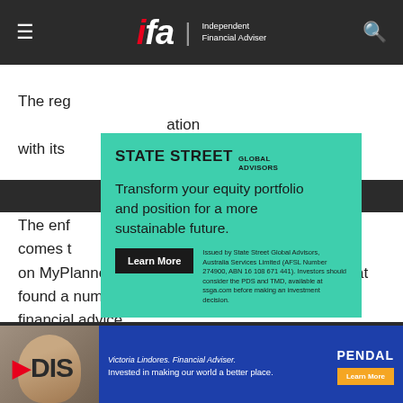ifa | Independent Financial Adviser
The reg[ulator has continued its confrontation with its [licensee...]
The enf[orcement action... ser comes t[o ... actions on MyPlanner's AFSL following an investigation that found a number of its advisers had provided “poor financial advice”.
[Figure (advertisement): State Street Global Advisors advertisement on green background. Tagline: Transform your equity portfolio and position for a more sustainable future. Includes Learn More button and disclaimer text.]
[Figure (advertisement): Pendal advertisement featuring Victoria Lindores, Financial Adviser. Text: Invested in making our world a better place. Learn More button.]
DIS[COVER